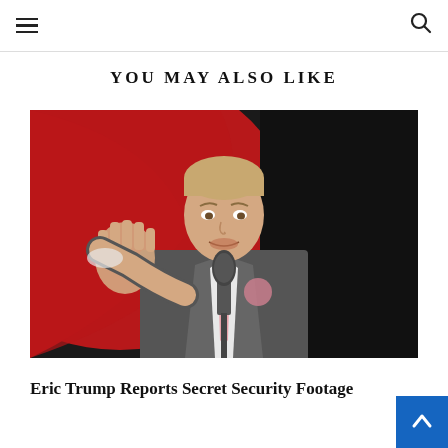Navigation menu and search icon
YOU MAY ALSO LIKE
[Figure (photo): A man in a grey suit with a pink tie standing at a podium with a microphone, gesturing with his right hand raised, with a red and black background behind him.]
Eric Trump Reports Secret Security Footage